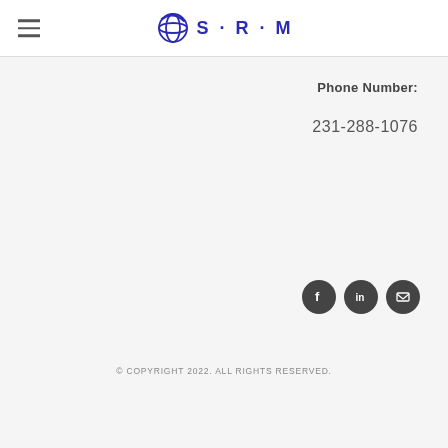[Figure (logo): SRM logo with stylized globe icon and text S·R·M in blue]
Phone Number:
231-288-1076
[Figure (illustration): Social media icons: Facebook, LinkedIn, Email — dark circular buttons]
© COPYRIGHT 2022. ALL RIGHTS RESERVED.